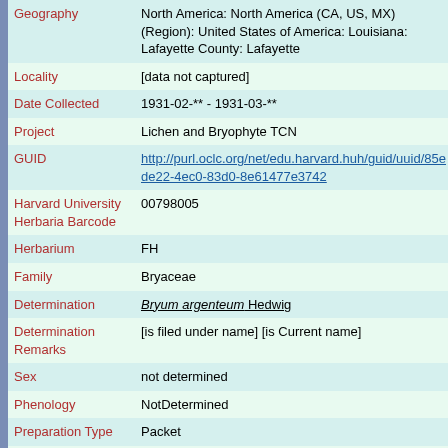| Field | Value |
| --- | --- |
| Geography | North America: North America (CA, US, MX) (Region): United States of America: Louisiana: Lafayette County: Lafayette |
| Locality | [data not captured] |
| Date Collected | 1931-02-** - 1931-03-** |
| Project | Lichen and Bryophyte TCN |
| GUID | http://purl.oclc.org/net/edu.harvard.huh/guid/uuid/85e de22-4ec0-83d0-8e61477e3742 |
| Harvard University Herbaria Barcode | 00798005 |
| Herbarium | FH |
| Family | Bryaceae |
| Determination | Bryum argenteum Hedwig |
| Determination Remarks | [is filed under name] [is Current name] |
| Sex | not determined |
| Phenology | NotDetermined |
| Preparation Type | Packet |
| Preparation Method | Dried |